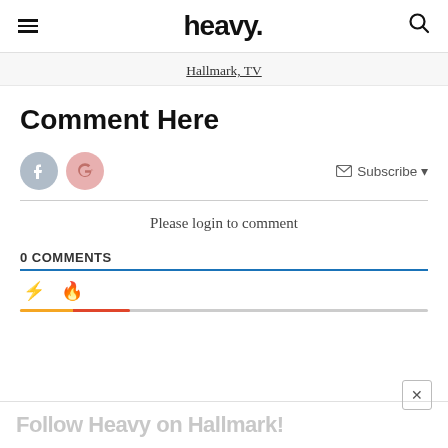heavy.
Hallmark, TV
Comment Here
Subscribe
Please login to comment
0 COMMENTS
Follow Heavy on Hallmark!